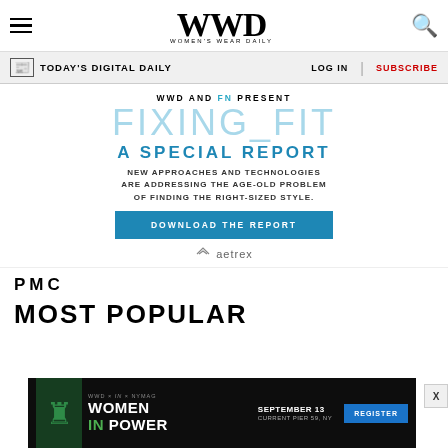WWD — Women's Wear Daily
TODAY'S DIGITAL DAILY | LOG IN | SUBSCRIBE
[Figure (infographic): WWD and FN present FIXING_FIT — A Special Report. New approaches and technologies are addressing the age-old problem of finding the right-sized style. Download the Report. Sponsored by Aetrex.]
PMC
MOST POPULAR
[Figure (infographic): Bottom advertisement banner: WWD x IN x NYMAG — Women In Power event. September 13. Current Pier 59, NY. Register button.]